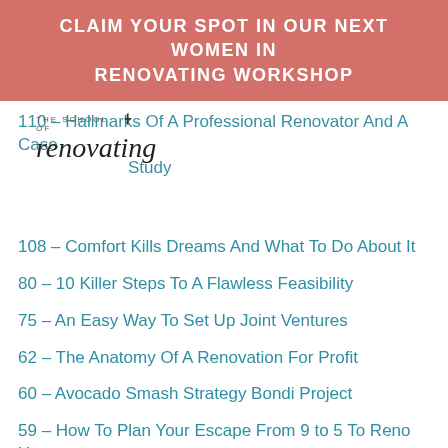CLAIM YOUR SPOT IN OUR NEXT WOMEN IN RENOVATING WORKSHOP
110 – Hallmarks Of A Professional Renovator And A Case Study
[Figure (logo): The School of Renovating logo with cross symbol and script text]
108 – Comfort Kills Dreams And What To Do About It
80 – 10 Killer Steps To A Flawless Feasibility
75 – An Easy Way To Set Up Joint Ventures
62 – The Anatomy Of A Renovation For Profit
60 – Avocado Smash Strategy Bondi Project
59 – How To Plan Your Escape From 9 to 5 To Reno Heaven
48 – Budget Styling Hacks